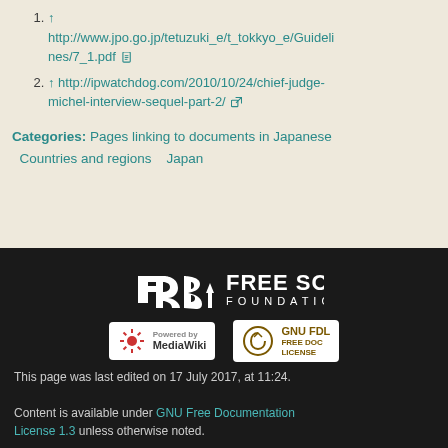↑ http://www.jpo.go.jp/tetuzuki_e/t_tokkyo_e/Guidelines/7_1.pdf [document link]
↑ http://ipwatchdog.com/2010/10/24/chief-judge-michel-interview-sequel-part-2/ [external link]
Categories:  Pages linking to documents in Japanese  Countries and regions  Japan
[Figure (logo): Free Software Foundation (FSF) logo in white on dark background]
[Figure (logo): Powered by MediaWiki badge]
[Figure (logo): GNU FDL Free Doc License badge]
This page was last edited on 17 July 2017, at 11:24. Content is available under GNU Free Documentation License 1.3 unless otherwise noted.